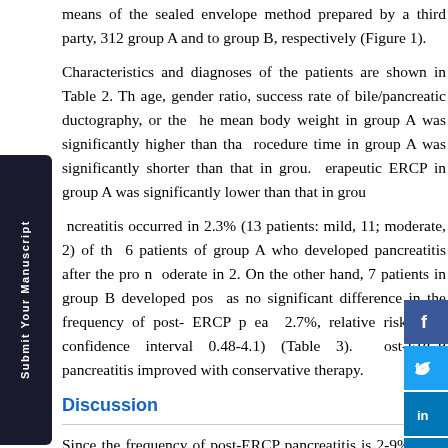means of the sealed envelope method prepared by a third party, 312 group A and to group B, respectively (Figure 1).
Characteristics and diagnoses of the patients are shown in Table 2. The age, gender ratio, success rate of bile/pancreatic ductography, or the mean body weight in group A was significantly higher than that procedure time in group A was significantly shorter than that in group erapeutic ERCP in group A was significantly lower than that in group
ncreatitis occurred in 2.3% (13 patients: mild, 11; moderate, 2) of th 6 patients of group A who developed pancreatitis after the pro n oderate in 2. On the other hand, 7 patients in group B developed pos as no significant difference in the frequency of post- ERCP p ea 2.7%, relative risk 0.55, confidence interval 0.48-4.1) (Table 3). ost-ERCP pancreatitis improved with conservative therapy.
Discussion
Since the frequency of post-ERCP pancreatitis is 2-9% [6-8] pr i not necessary in the majority of patients who undergo ERCP-related p of consensus on the pharmacological prevention of post-ERCP pancre